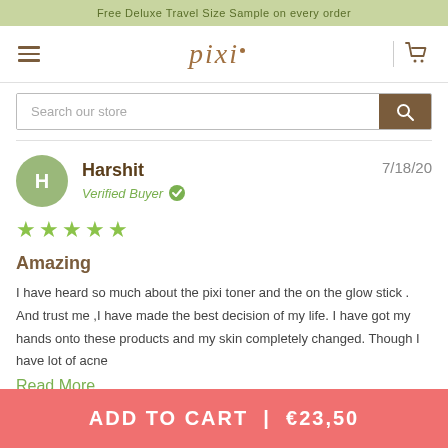Free Deluxe Travel Size Sample on every order
[Figure (logo): pixi brand logo with hamburger menu, cart icon]
Search our store
Harshit — 7/18/20 — Verified Buyer — ★★★★★ — Amazing — I have heard so much about the pixi toner and the on the glow stick . And trust me ,I have made the best decision of my life. I have got my hands onto these products and my skin completely changed. Though I have lot of acne — Read More
ADD TO CART  |  €23,50